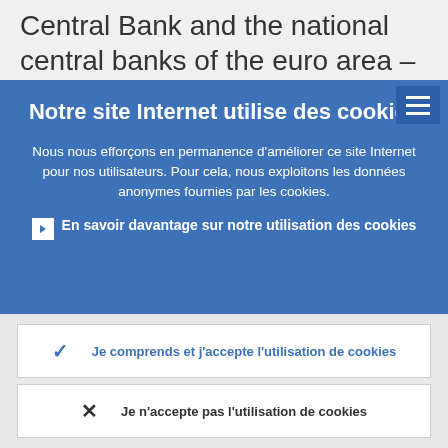Central Bank and the national central banks of the euro area – and the Bank of Russia
Notre site Internet utilise des cookies
Nous nous efforçons en permanence d'améliorer ce site Internet pour nos utilisateurs. Pour cela, nous exploitons les données anonymes fournies par les cookies.
En savoir davantage sur notre utilisation des cookies
Je comprends et j'accepte l'utilisation de cookies
Je n'accepte pas l'utilisation de cookies